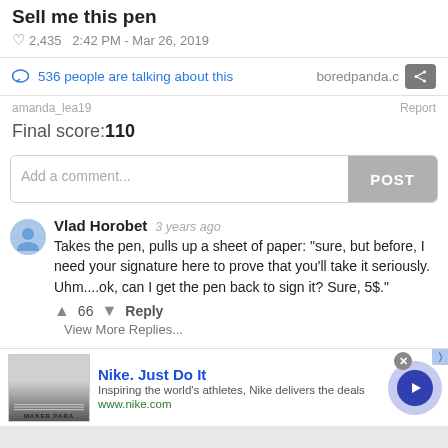Sell me this pen
♡ 2,435   2:42 PM - Mar 26, 2019
536 people are talking about this   boredpanda.com
amanda_lea19
Report
Final score: 110
Add a comment...   POST
Vlad Horobet   3 years ago
Takes the pen, pulls up a sheet of paper: "sure, but before, I need your signature here to prove that you'll take it seriously. Uhm....ok, can I get the pen back to sign it? Sure, 5$."
↑ 66 ↓  Reply
View More Replies...
[Figure (screenshot): Nike advertisement banner with Nike logo image, text 'Nike. Just Do It', 'Inspiring the world's athletes, Nike delivers the deals', 'www.nike.com', a play button, and close/share icons]